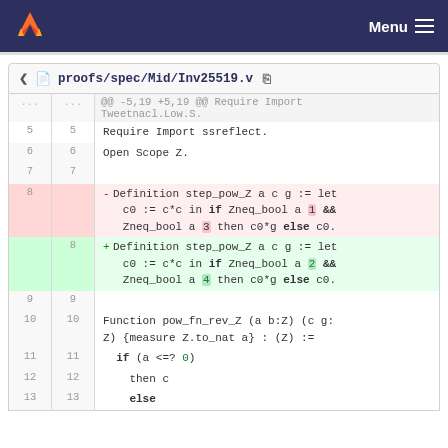Menu
proofs/spec/Mid/Inv25519.v
@@ -5,19 +5,19 @@ Require Import Tweetnacl.Low.S.
5  5  Require Import ssreflect.
6  6  Open Scope Z.
7  7  
8     - Definition step_pow_Z a c g := let c0 := c*c in if Zneq_bool a 1 && Zneq_bool a 3 then c0*g else c0.
   8  + Definition step_pow_Z a c g := let c0 := c*c in if Zneq_bool a 2 && Zneq_bool a 4 then c0*g else c0.
9  9  
10 10 Function pow_fn_rev_Z (a b:Z) (c g:Z) {measure Z.to_nat a} : (Z) :=
11 11   if (a <=? 0)
12 12     then c
13 13     else